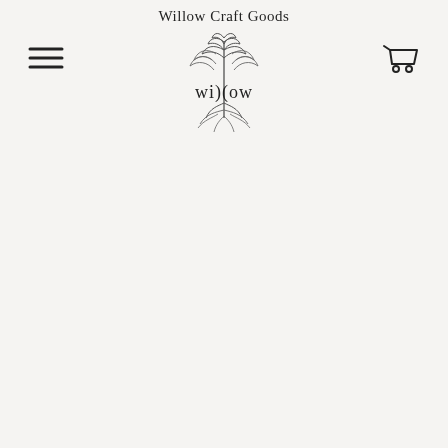Willow Craft Goods
[Figure (logo): Willow Craft Goods logo: stylized willow tree with roots, text 'wi)(ow' in the center, and company name above]